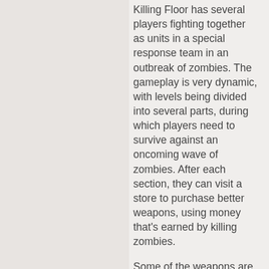Killing Floor has several players fighting together as units in a special response team in an outbreak of zombies. The gameplay is very dynamic, with levels being divided into several parts, during which players need to survive against an oncoming wave of zombies. After each section, they can visit a store to purchase better weapons, using money that's earned by killing zombies.
Some of the weapons are slightly unbalanced though, some positively, some negatively, as the shotguns tend to be a lot more useful than the other weapons for...